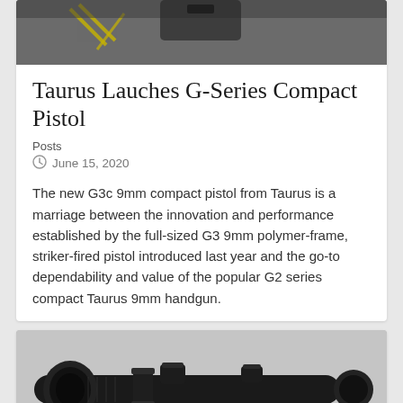[Figure (photo): Partial top photo of a pistol/firearm on a floor with yellow markings, cropped at top]
Taurus Lauches G-Series Compact Pistol
Posts
June 15, 2020
The new G3c 9mm compact pistol from Taurus is a marriage between the innovation and performance established by the full-sized G3 9mm polymer-frame, striker-fired pistol introduced last year and the go-to dependability and value of the popular G2 series compact Taurus 9mm handgun.
[Figure (photo): Photo of a rifle scope/optical sight in black, partially visible at bottom of page]